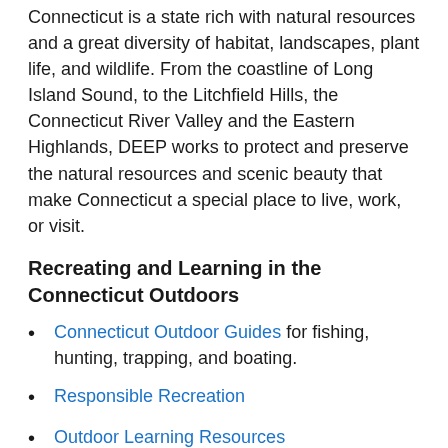Connecticut is a state rich with natural resources and a great diversity of habitat, landscapes, plant life, and wildlife. From the coastline of Long Island Sound, to the Litchfield Hills, the Connecticut River Valley and the Eastern Highlands, DEEP works to protect and preserve the natural resources and scenic beauty that make Connecticut a special place to live, work, or visit.
Recreating and Learning in the Connecticut Outdoors
Connecticut Outdoor Guides for fishing, hunting, trapping, and boating.
Responsible Recreation
Outdoor Learning Resources
Get a free Nature Photo (fish, forests, and wildlife) to use for a Zoom Meeting Background
Subscribe to Connecticut Wildlife Magazine (a